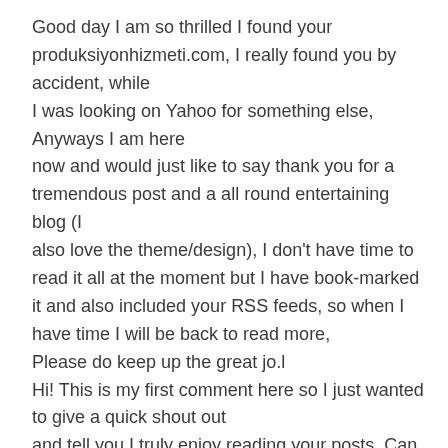Good day I am so thrilled I found your produksiyonhizmeti.com, I really found you by accident, while I was looking on Yahoo for something else, Anyways I am here now and would just like to say thank you for a tremendous post and a all round entertaining blog (I also love the theme/design), I don't have time to read it all at the moment but I have book-marked it and also included your RSS feeds, so when I have time I will be back to read more, Please do keep up the great jo.l Hi! This is my first comment here so I just wanted to give a quick shout out and tell you I truly enjoy reading your posts. Can you recommend any other blogs/websites/forums that go over the same topics? Appreciate it!|
Ho do you attract fered have and interest the the